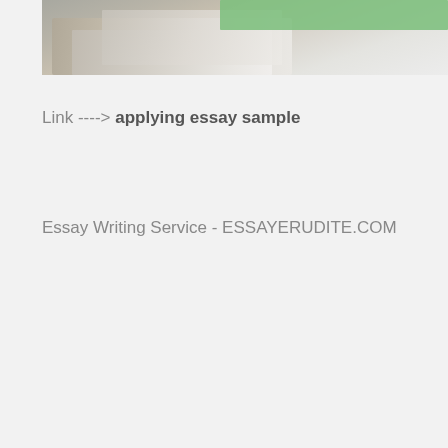[Figure (photo): Photo of open books/notebooks on a desk, with a green banner overlay in the top right area]
Link ----> applying essay sample
Essay Writing Service - ESSAYERUDITE.COM